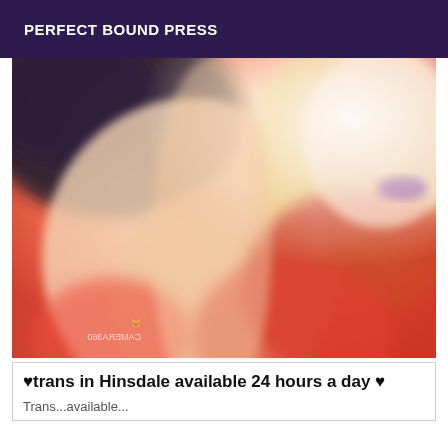PERFECT BOUND PRESS
[Figure (photo): Blurry selfie-style photo of a blonde person wearing red clothing, taken with a front-facing camera. Camera360 watermark visible in bottom right corner.]
♥trans in Hinsdale available 24 hours a day ♥
Trans...available...